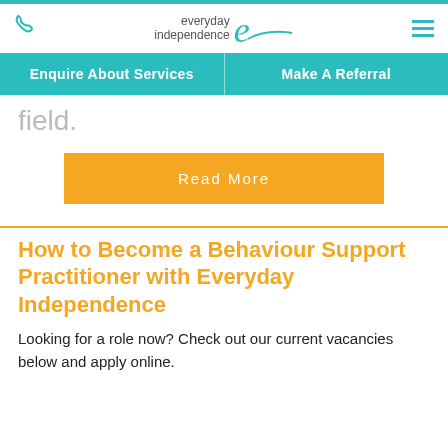everyday independence [logo]
Enquire About Services | Make A Referral
field.
Read More
How to Become a Behaviour Support Practitioner with Everyday Independence
Looking for a role now? Check out our current vacancies below and apply online.